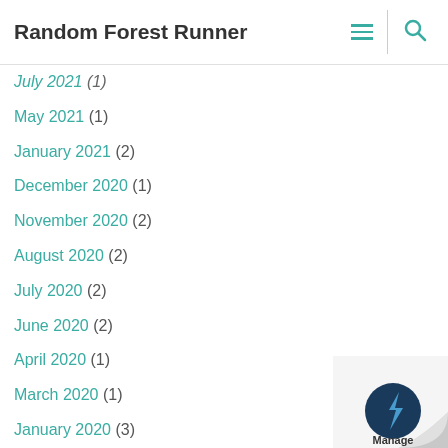Random Forest Runner
July 2021 (1)
May 2021 (1)
January 2021 (2)
December 2020 (1)
November 2020 (2)
August 2020 (2)
July 2020 (2)
June 2020 (2)
April 2020 (1)
March 2020 (1)
January 2020 (3)
December 2019 (2)